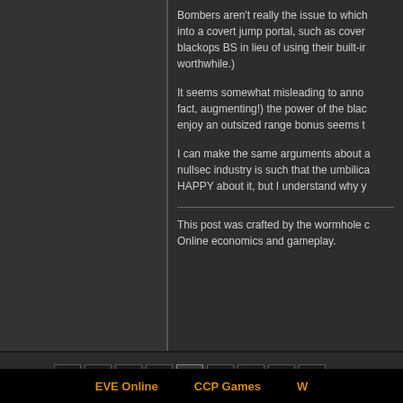Bombers aren't really the issue to which into a covert jump portal, such as cover blackops BS in lieu of using their built-ir worthwhile.)
It seems somewhat misleading to anno fact, augmenting!) the power of the bla enjoy an outsized range bonus seems t
I can make the same arguments about nullsec industry is such that the umbilica HAPPY about it, but I understand why y
This post was crafted by the wormhole Online economics and gameplay.
EVE Online   CCP Games   W